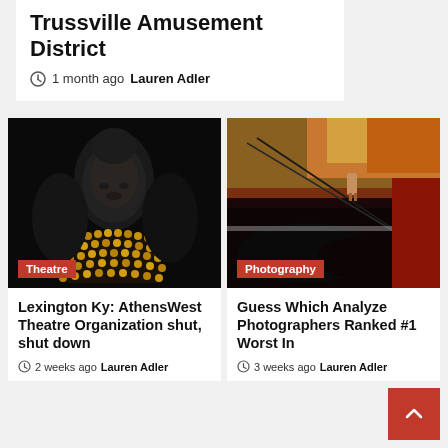Trussville Amusement District
1 month ago  Lauren Adler
[Figure (photo): Dark silhouette of a Buddha statue with golden jeweled necklace, nearly black background with subtle gold highlights. Category label: Theatre]
[Figure (photo): Close-up of dark objects including what appears to be a clothespin on a string against warm orange and red tones. Category label: Photography]
Lexington Ky: AthensWest Theatre Organization shut, shut down
2 weeks ago  Lauren Adler
Guess Which Analyze Photographers Ranked #1 Worst In
3 weeks ago  Lauren Adler